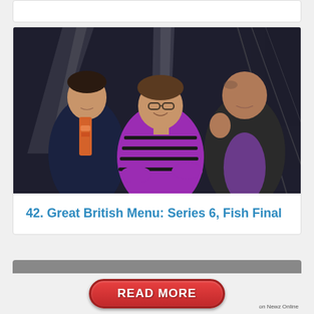[Figure (photo): Three people posing together against a dark background with decorative knife/utensil graphics. Left: tall thin man in dark blazer with orange/red patterned tie. Center: woman in bright purple/magenta striped dress with glasses and short brown hair, smiling. Right: older bald man in dark suit with purple shirt.]
42. Great British Menu: Series 6, Fish Final
[Figure (other): Red oval READ MORE button with white bold text, with 'on Newz Online' label to the right]